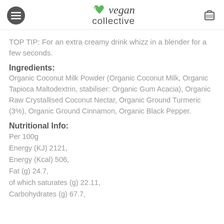vegan collective
TOP TIP: For an extra creamy drink whizz in a blender for a few seconds.
Ingredients:
Organic Coconut Milk Powder (Organic Coconut Milk, Organic Tapioca Maltodextrin, stabiliser: Organic Gum Acacia), Organic Raw Crystallised Coconut Nectar, Organic Ground Turmeric (3%), Organic Ground Cinnamon, Organic Black Pepper.
Nutritional Info:
Per 100g
Energy (KJ) 2121,
Energy (Kcal) 506,
Fat (g) 24.7,
of which saturates (g) 22.11,
Carbohydrates (g) 67.7,